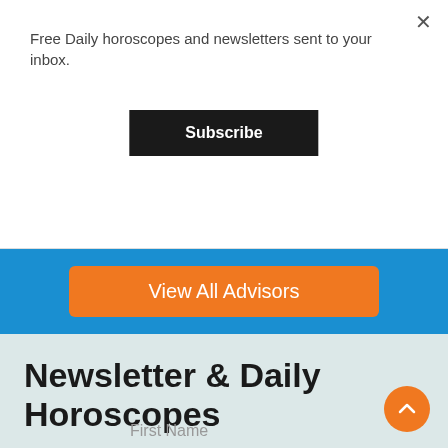Free Daily horoscopes and newsletters sent to your inbox.
Subscribe
View All Advisors
Newsletter & Daily Horoscopes
Free Daily horoscopes and newsletters sent to your inbox.
First Name